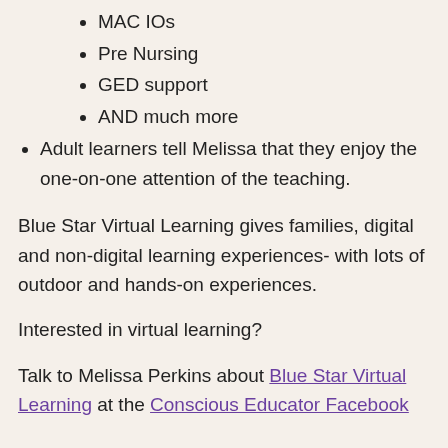MAC IOs
Pre Nursing
GED support
AND much more
Adult learners tell Melissa that they enjoy the one-on-one attention of the teaching.
Blue Star Virtual Learning gives families, digital and non-digital learning experiences- with lots of outdoor and hands-on experiences.
Interested in virtual learning?
Talk to Melissa Perkins about Blue Star Virtual Learning at the Conscious Educator Facebook